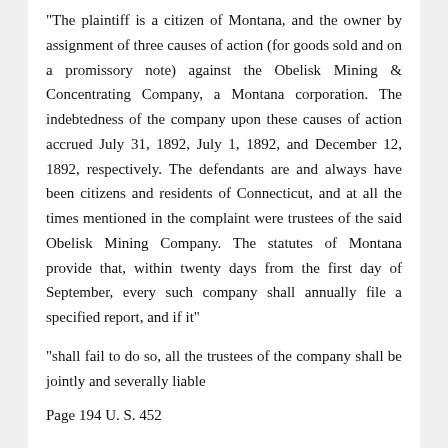"The plaintiff is a citizen of Montana, and the owner by assignment of three causes of action (for goods sold and on a promissory note) against the Obelisk Mining & Concentrating Company, a Montana corporation. The indebtedness of the company upon these causes of action accrued July 31, 1892, July 1, 1892, and December 12, 1892, respectively. The defendants are and always have been citizens and residents of Connecticut, and at all the times mentioned in the complaint were trustees of the said Obelisk Mining Company. The statutes of Montana provide that, within twenty days from the first day of September, every such company shall annually file a specified report, and if it"
"shall fail to do so, all the trustees of the company shall be jointly and severally liable
Page 194 U. S. 452